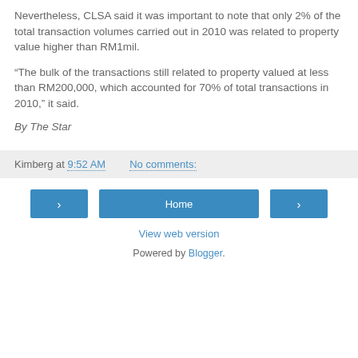Nevertheless, CLSA said it was important to note that only 2% of the total transaction volumes carried out in 2010 was related to property value higher than RM1mil.
“The bulk of the transactions still related to property valued at less than RM200,000, which accounted for 70% of total transactions in 2010,” it said.
By The Star
Kimberg at 9:52 AM   No comments:
Home
View web version
Powered by Blogger.